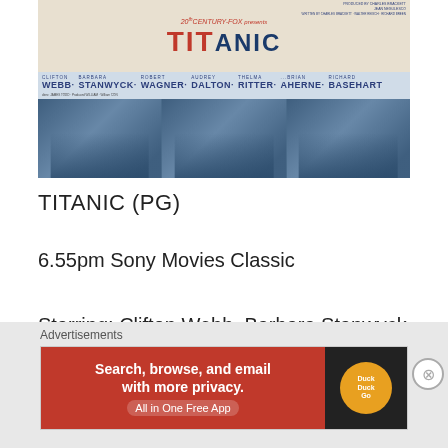[Figure (photo): Movie poster for Titanic (1953) by 20th Century Fox, featuring cast names including Clifton Webb, Barbara Stanwyck, Robert Wagner, Audrey Dalton, Thelma Ritter, Brian Aherne, Richard Basehart, with blue-tinted scene stills at the bottom]
TITANIC (PG)
6.55pm Sony Movies Classic
Starring: Clifton Webb, Barbara Stanwyck, Robert Wagner
Advertisements
[Figure (screenshot): DuckDuckGo advertisement banner: 'Search, browse, and email with more privacy. All in One Free App' on orange background with DuckDuckGo logo on dark background]